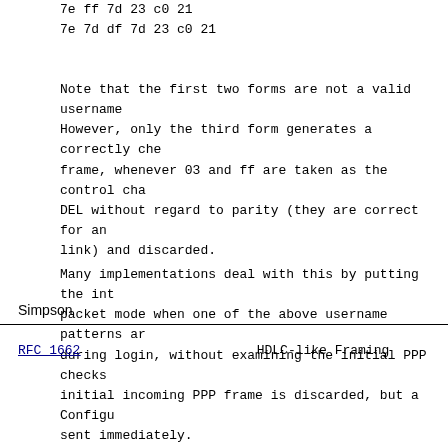7e ff 7d 23 c0 21
        7e 7d df 7d 23 c0 21
Note that the first two forms are not a valid username. However, only the third form generates a correctly che frame, whenever 03 and ff are taken as the control cha DEL without regard to parity (they are correct for an link) and discarded.
Many implementations deal with this by putting the int packet mode when one of the above username patterns ar during login, without examining the initial PPP checks initial incoming PPP frame is discarded, but a Configu sent immediately.
Simpson
RFC 1662                    HDLC-like Framing